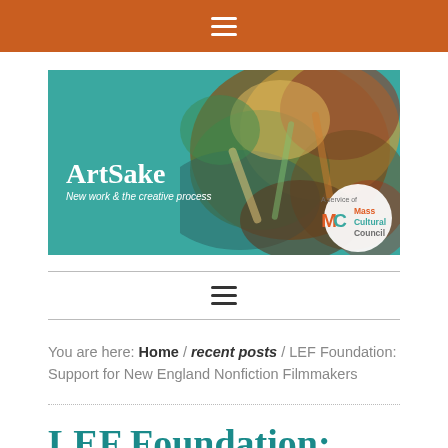≡ (hamburger menu icon)
[Figure (illustration): ArtSake banner. Teal background on left with white text 'ArtSake – New work & the creative process', colorful abstract art painting on right. MC Mass Cultural Council logo in bottom right.]
≡ (hamburger/menu icon)
You are here: Home / recent posts / LEF Foundation: Support for New England Nonfiction Filmmakers
LEF Foundation: Support for New...